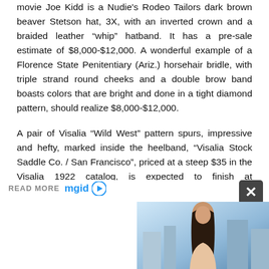movie Joe Kidd is a Nudie's Rodeo Tailors dark brown beaver Stetson hat, 3X, with an inverted crown and a braided leather “whip” hatband. It has a pre-sale estimate of $8,000-$12,000. A wonderful example of a Florence State Penitentiary (Ariz.) horsehair bridle, with triple strand round cheeks and a double brow band boasts colors that are bright and done in a tight diamond pattern, should realize $8,000-$12,000.
A pair of Visalia “Wild West” pattern spurs, impressive and hefty, marked inside the heelband, “Visalia Stock Saddle Co. / San Francisco”, priced at a steep $35 in the Visalia 1922 catalog, is expected to finish at $8,000-$12,000. Also, a J. Tapia target pattern spade bit, an elaborate, multi-spotted silver inlaid California spade bit with multiple ro
[Figure (photo): Partial advertisement banner showing READ MORE text, mgid logo with play button icon, and a close X button on dark background. Below is a partial photo of a woman with long dark hair against a blurred outdoor background.]